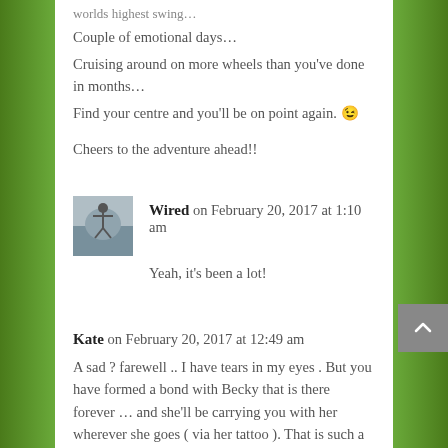worlds highest swing…
Couple of emotional days…
Cruising around on more wheels than you've done in months…
Find your centre and you'll be on point again. 😉
Cheers to the adventure ahead!!
Wired on February 20, 2017 at 1:10 am
Yeah, it's been a lot!
Kate on February 20, 2017 at 12:49 am
A sad ? farewell .. I have tears in my eyes . But you have formed a bond with Becky that is there forever … and she'll be carrying you with her wherever she goes ( via her tattoo ). That is such a